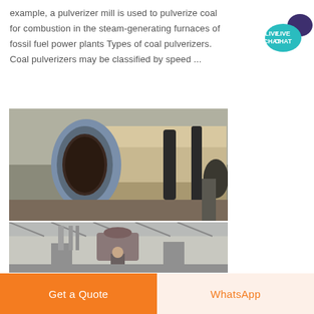example, a pulverizer mill is used to pulverize coal for combustion in the steam-generating furnaces of fossil fuel power plants Types of coal pulverizers. Coal pulverizers may be classified by speed ...
[Figure (photo): Industrial rotary mill / pulverizer drum — large cylindrical steel drum viewed from the front end inside a factory building]
[Figure (photo): Industrial machinery inside a plant building — partial view of equipment with a person visible below]
[Figure (other): Live Chat button — teal speech bubble with text LIVE CHAT and purple decorative speech bubble]
Get a Quote
WhatsApp